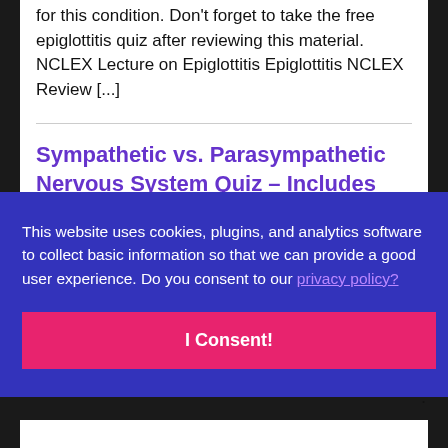for this condition. Don't forget to take the free epiglottitis quiz after reviewing this material. NCLEX Lecture on Epiglottitis Epiglottitis NCLEX Review [...]
Sympathetic vs. Parasympathetic Nervous System Quiz – Includes
This website uses cookies, plugins, and analytics software to collect basic information so that we can provide a good user experience. Do you consent to our privacy policy?
I Consent!